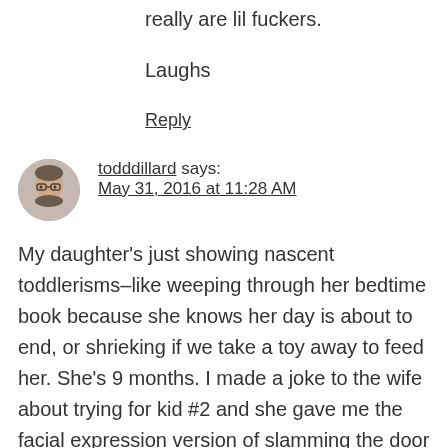really are lil fuckers.
Laughs
Reply
todddillard says: May 31, 2016 at 11:28 AM
My daughter's just showing nascent toddlerisms–like weeping through her bedtime book because she knows her day is about to end, or shrieking if we take a toy away to feed her. She's 9 months. I made a joke to the wife about trying for kid #2 and she gave me the facial expression version of slamming the door in my face.